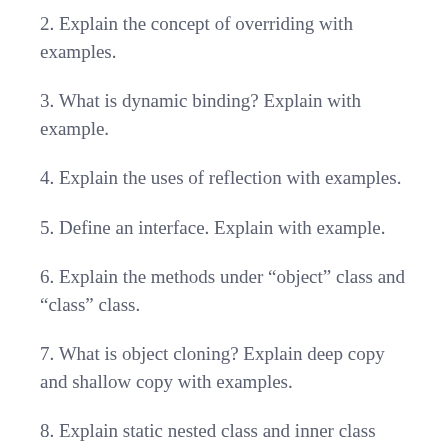2. Explain the concept of overriding with examples.
3. What is dynamic binding? Explain with example.
4. Explain the uses of reflection with examples.
5. Define an interface. Explain with example.
6. Explain the methods under “object” class and “class” class.
7. What is object cloning? Explain deep copy and shallow copy with examples.
8. Explain static nested class and inner class with